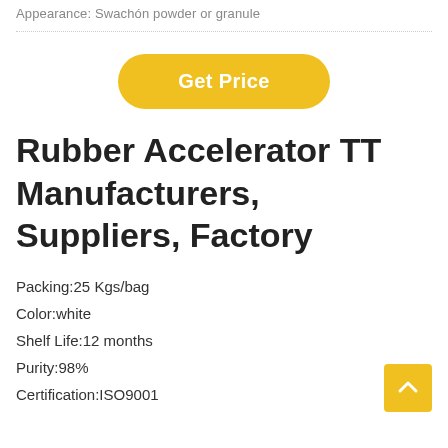Appearance: Swachón powder or granule
[Figure (other): Get Price button - yellow rounded rectangle button with white text]
Rubber Accelerator TT Manufacturers, Suppliers, Factory
Packing:25 Kgs/bag
Color:white
Shelf Life:12 months
Purity:98%
Certification:ISO9001